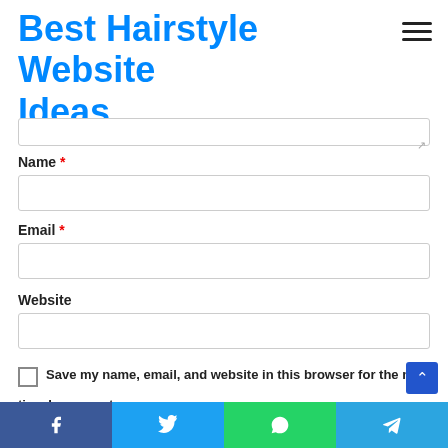Best Hairstyle Website Ideas
Name *
Email *
Website
Save my name, email, and website in this browser for the next time I comment.
Facebook | Twitter | WhatsApp | Telegram